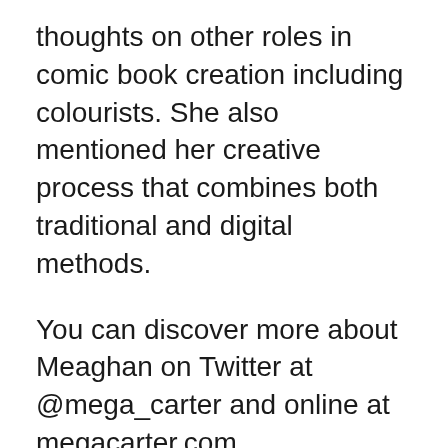thoughts on other roles in comic book creation including colourists. She also mentioned her creative process that combines both traditional and digital methods.
You can discover more about Meaghan on Twitter at @mega_carter and online at megacarter.com
+++
Here's some of the current news about Canadian comic book creators and